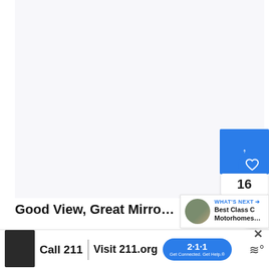[Figure (photo): Large mostly white/blank image area at top of page, a vehicle or motorhome article image placeholder]
[Figure (other): Blue like/upvote button with up arrow and heart icon, showing count 16, and a share button below]
Good View, Great Mirrors, Wonderf…
[Figure (other): WHAT'S NEXT panel showing a circular thumbnail of a motorhome scene and text: Best Class C Motorhomes…]
Like the Thor Axis, this Class A has a great view of…ds.
[Figure (other): Advertisement banner: photo of a person, Call 211 | Visit 211.org with 2-1-1 badge logo, and wave icon. Close X button in top right.]